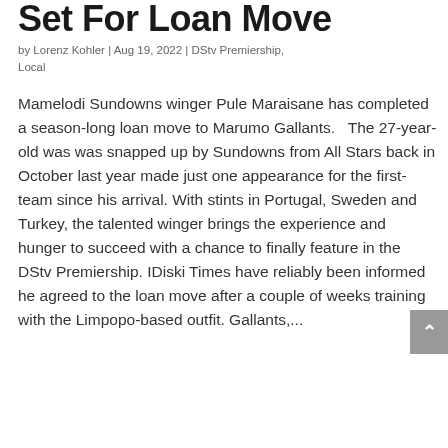Set For Loan Move
by Lorenz Kohler | Aug 19, 2022 | DStv Premiership, Local
Mamelodi Sundowns winger Pule Maraisane has completed a season-long loan move to Marumo Gallants.   The 27-year-old was was snapped up by Sundowns from All Stars back in October last year made just one appearance for the first-team since his arrival. With stints in Portugal, Sweden and Turkey, the talented winger brings the experience and hunger to succeed with a chance to finally feature in the DStv Premiership. IDiski Times have reliably been informed he agreed to the loan move after a couple of weeks training with the Limpopo-based outfit. Gallants,...